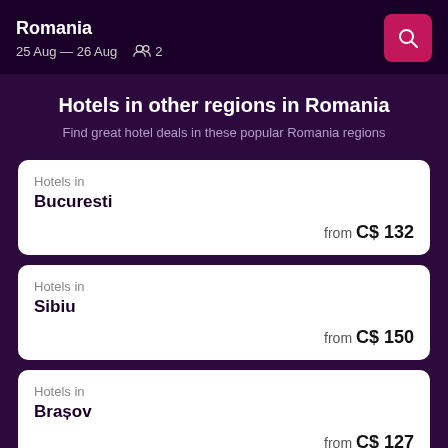Romania
25 Aug — 26 Aug  2
Hotels in other regions in Romania
Find great hotel deals in these popular Romania regions
Hotels in
Bucuresti
from C$ 132
Hotels in
Sibiu
from C$ 150
Hotels in
Brașov
from C$ 127